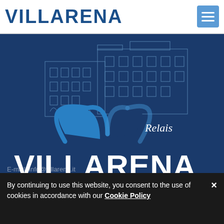VILLARENA
[Figure (logo): Villarena Relais logo with building illustration outline on dark blue background, blue arc/heart shape above the text, and 'Relais' script above the main wordmark 'VILLARENA']
[Figure (illustration): Four colored icon tiles: blue (pillow/accommodation), orange (chef hat/restaurant), pink (wine glass/bar), green (leaf/nature)]
Via Amerigo Vespucci, 13
80061, Massa Lubrense (NA)
Sorrento Coast, Italy
By continuing to use this website, you consent to the use of cookies in accordance with our Cookie Policy
E-mail: info@villarena.it